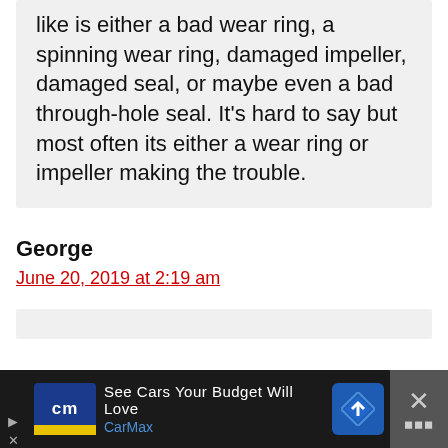like is either a bad wear ring, a spinning wear ring, damaged impeller, damaged seal, or maybe even a bad through-hole seal. It's hard to say but most often its either a wear ring or impeller making the trouble.
George
June 20, 2019 at 2:19 am